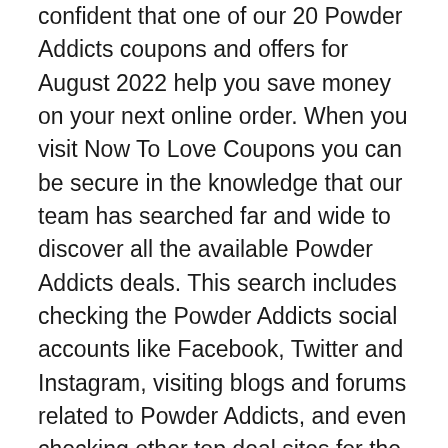confident that one of our 20 Powder Addicts coupons and offers for August 2022 help you save money on your next online order. When you visit Now To Love Coupons you can be secure in the knowledge that our team has searched far and wide to discover all the available Powder Addicts deals. This search includes checking the Powder Addicts social accounts like Facebook, Twitter and Instagram, visiting blogs and forums related to Powder Addicts, and even checking other top deal sites for the latest Powder Addicts coupon codes.
When shopping online for Powder Addicts, it is always a clever idea to visit us at Now To Love Coupons before finishing your order. The Now To Love Coupons team enjoy saving our visitors thousands of dollars every month, many of which never knew Powder Addicts discount codes were available until visiting our site. Now armed with the knowledge of how easy it is to save at Powder